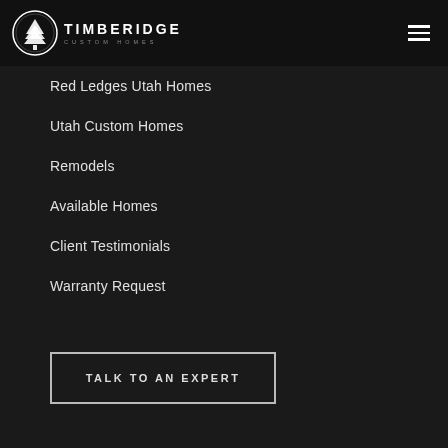[Figure (logo): Timberidge Custom Homes logo — circular tree icon with TIMBERIDGE in bold white letters and CUSTOM HOMES in spaced grey letters beneath]
Red Ledges Utah Homes
Utah Custom Homes
Remodels
Available Homes
Client Testimonials
Warranty Request
TALK TO AN EXPERT